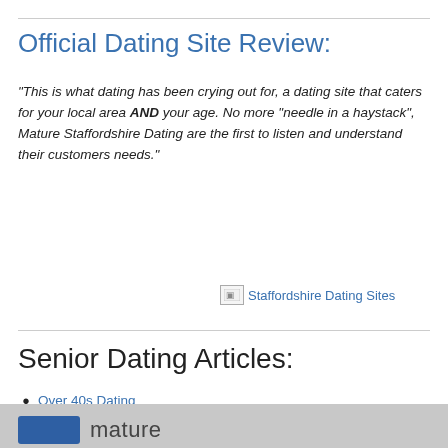Official Dating Site Review:
"This is what dating has been crying out for, a dating site that caters for your local area AND your age. No more "needle in a haystack", Mature Staffordshire Dating are the first to listen and understand their customers needs."
[Figure (other): Broken image placeholder with alt text: Staffordshire Dating Sites]
Senior Dating Articles:
Over 40s Dating
Over 50s Dating
Over 60s Dating
Over 70s Dating
Dating Agencies